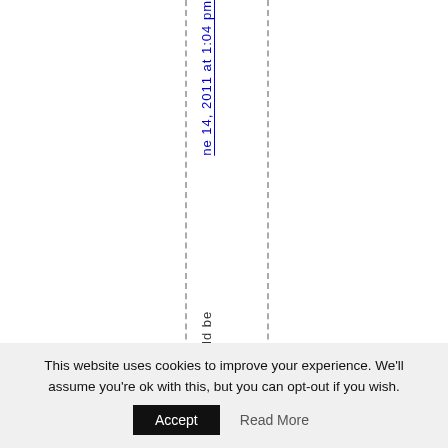ne 14, 2011 at 1:04 pm
I would be grat
This website uses cookies to improve your experience. We'll assume you're ok with this, but you can opt-out if you wish. Accept Read More